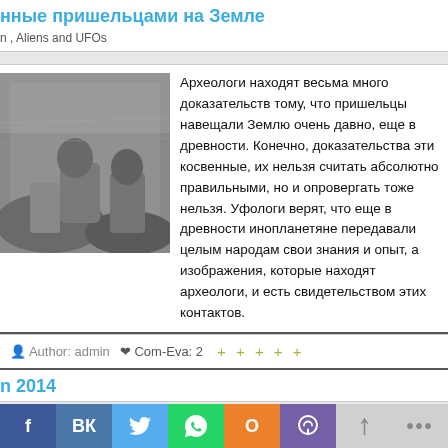нные пришельцами на Земле
n , Aliens and UFOs
Археологи находят весьма много доказательств тому, что пришельцы навещали Землю очень давно, еще в древности. Конечно, доказательства эти косвенные, их нельзя считать абсолютно правильными, но и опровергать тоже нельзя. Уфологи верят, что еще в древности инопланетяне передавали  целым народам свои знания и опыт, а изображения, которые находят археологи, и есть свидетельством этих контактов.
[Figure (photo): Black and white photo of a figure near rocks]
Author: admin   Com-Eva: 2   + + + + +
n 2014
[Figure (photo): Photo of a person with hair visible]
Many people has become a tradition before the coming of the new year to read, what awaits them, according to the